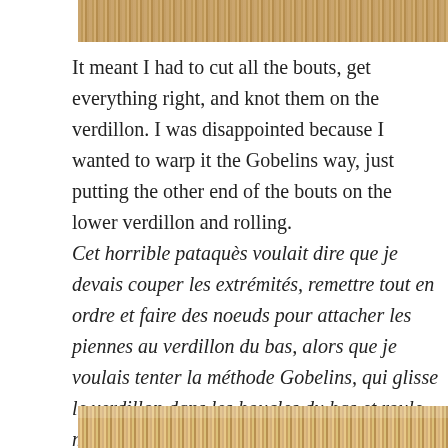[Figure (photo): Top portion of a photo showing vertical warp threads on a loom, warm golden/tan colored threads visible]
It meant I had to cut all the bouts, get everything right, and knot them on the verdillon. I was disappointed because I wanted to warp it the Gobelins way, just putting the other end of the bouts on the lower verdillon and rolling.
Cet horrible pataquès voulait dire que je devais couper les extrémités, remettre tout en ordre et faire des noeuds pour attacher les piennes au verdillon du bas, alors que je voulais tenter la méthode Gobelins, qui glisse le verdillon dans les boucles du bas et roule ma poule on enroule.
[Figure (photo): Bottom portion of a photo showing vertical warp threads on a loom, warm golden/tan colored threads with some blue elements visible]